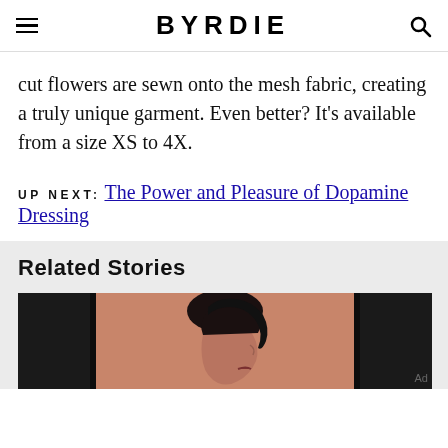BYRDIE
cut flowers are sewn onto the mesh fabric, creating a truly unique garment. Even better? It's available from a size XS to 4X.
UP NEXT: The Power and Pleasure of Dopamine Dressing
Related Stories
[Figure (photo): A woman in profile with dark hair against a peach/orange background, flanked by dark panels on either side]